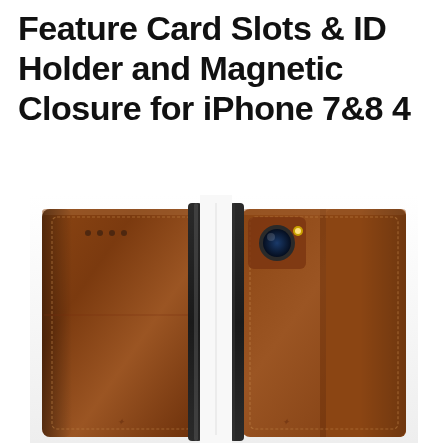Feature Card Slots & ID Holder and Magnetic Closure for iPhone 7&8 4
[Figure (photo): Product photo showing two brown leather wallet-style iPhone cases side by side. The left case shows the interior/front with speaker grille dots visible at top. The right case shows the back exterior with camera cutout visible. Both cases have a dark frame and rich brown leather with stitching details and a small logo embossed at the bottom.]